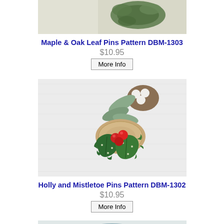[Figure (photo): Top portion of maple and oak leaf pins product photo, showing green leaf on light background]
Maple & Oak Leaf Pins Pattern DBM-1303
$10.95
More Info
[Figure (photo): Holly and mistletoe pins product photo showing green holly leaves with red berries and mistletoe with white berries on white background]
Holly and Mistletoe Pins Pattern DBM-1302
$10.95
More Info
[Figure (photo): Partial view of next product photo showing blue/teal textured item at bottom of page]